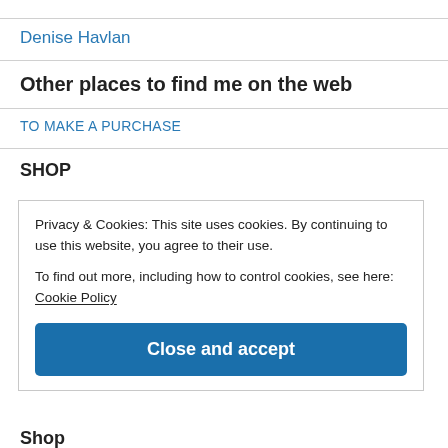Denise Havlan
Other places to find me on the web
TO MAKE A PURCHASE
SHOP
Privacy & Cookies: This site uses cookies. By continuing to use this website, you agree to their use.
To find out more, including how to control cookies, see here: Cookie Policy
Close and accept
Shop